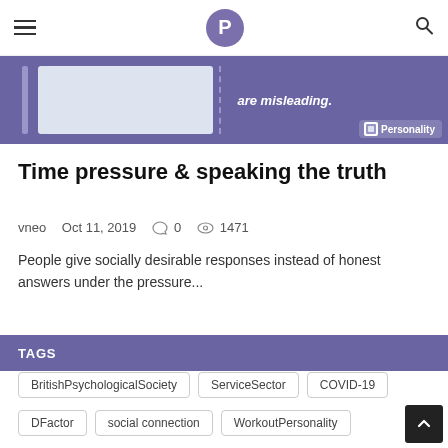P
[Figure (illustration): Purple/blue banner image showing a light box shape, dashed vertical line, text 'are misleading.' and a Personality branding badge in the bottom right corner]
Time pressure & speaking the truth
vneo  Oct 11, 2019  0  1471
People give socially desirable responses instead of honest answers under the pressure...
TAGS
BritishPsychologicalSociety
ServiceSector
COVID-19
DFactor
social connection
WorkoutPersonality